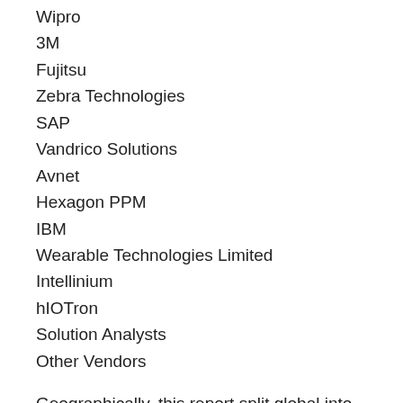Wipro
3M
Fujitsu
Zebra Technologies
SAP
Vandrico Solutions
Avnet
Hexagon PPM
IBM
Wearable Technologies Limited
Intellinium
hIOTron
Solution Analysts
Other Vendors
Geographically, this report split global into several key Regions, with market size and growth of